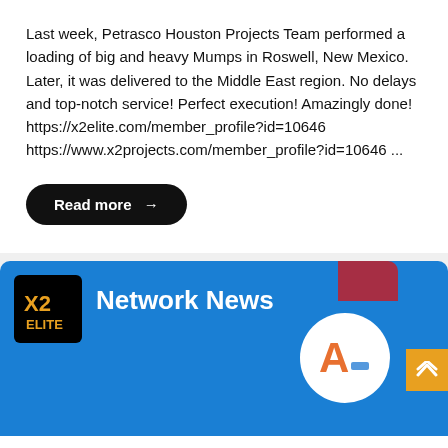Last week, Petrasco Houston Projects Team performed a loading of big and heavy Mumps in Roswell, New Mexico. Later, it was delivered to the Middle East region. No delays and top-notch service! Perfect execution! Amazingly done! https://x2elite.com/member_profile?id=10646 https://www.x2projects.com/member_profile?id=10646 ...
Read more →
[Figure (screenshot): Network News banner with X2 Elite logo on dark background and blue background with A-logo circle and scroll-up button]
We use cookies to improve your experience and performance on our website.
Accept All
Deny